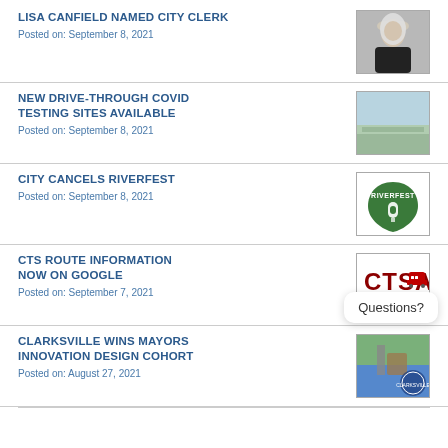LISA CANFIELD NAMED CITY CLERK
Posted on: September 8, 2021
[Figure (photo): Photo of Lisa Canfield, a woman with long light hair wearing a dark top]
NEW DRIVE-THROUGH COVID TESTING SITES AVAILABLE
Posted on: September 8, 2021
[Figure (photo): Aerial or landscape photo of a COVID testing site area]
CITY CANCELS RIVERFEST
Posted on: September 8, 2021
[Figure (logo): Riverfest green guitar pick logo with RIVERFEST text]
CTS ROUTE INFORMATION NOW ON GOOGLE
Posted on: September 7, 2021
[Figure (logo): CTSA Clarksville Transit System logo in dark red]
CLARKSVILLE WINS MAYORS INNOVATION DESIGN COHORT
Posted on: August 27, 2021
[Figure (photo): Photo of Clarksville city scene with official city seal overlay]